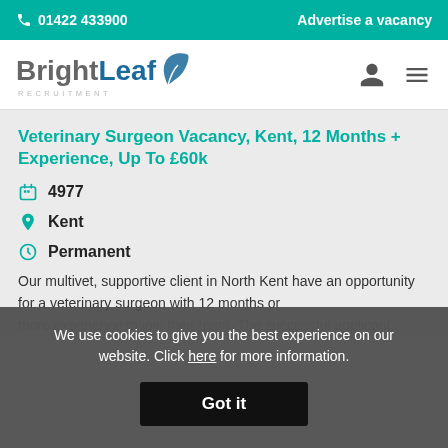📞 01422 433900   Advertise a vacancy
[Figure (logo): BrightLeaf Recruitment logo with teal leaf icon]
Veterinary Surgeon Vacancy, Kent, 12 Months + Experience, Up To £60k
4977
Kent
Permanent
Our multivet, supportive client in North Kent have an opportunity for a veterinary surgeon with 12 months or more experience to join their team. The successful applicant...
We use cookies to give you the best experience on our website. Click here for more information.
Got it